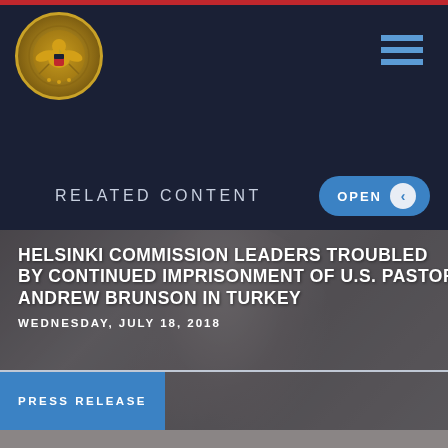[Figure (logo): Commission on Security and Cooperation in Europe seal/logo — gold eagle emblem on circular badge, dark navy background header]
RELATED CONTENT
OPEN
HELSINKI COMMISSION LEADERS TROUBLED BY CONTINUED IMPRISONMENT OF U.S. PASTOR ANDREW BRUNSON IN TURKEY
WEDNESDAY, JULY 18, 2018
PRESS RELEASE